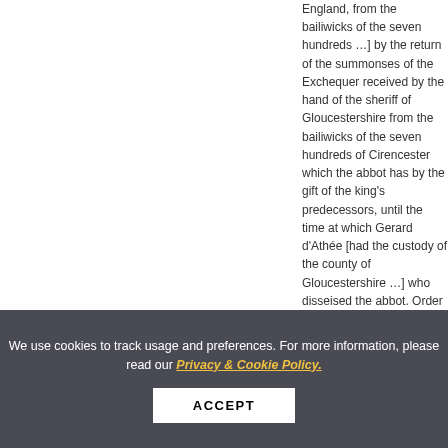England, from the bailiwicks of the seven hundreds …] by the return of the summonses of the Exchequer received by the hand of the sheriff of Gloucestershire from the bailiwicks of the seven hundreds of Cirencester which the abbot has by the gift of the king's predecessors, until the time at which Gerard d'Athée [had the custody of the county of Gloucestershire …] who disseised the abbot. Order to permit the abbot to answer the king at the Exchequer for the king's debts from the bailiwicks of the seven hundreds of
Cirencester. [Endorsed:] …
the return of the summonses of the Exchequer received by the sheriff's farm from the bailiwicks …
We use cookies to track usage and preferences. For more information, please read our Privacy & Cookie Policy.